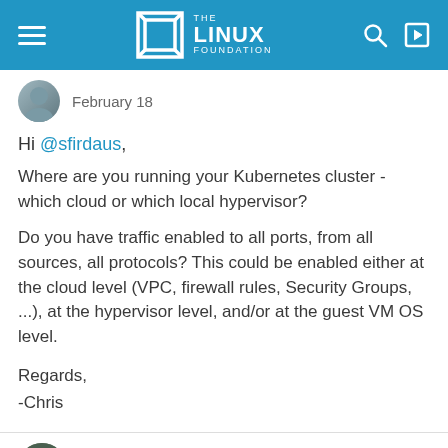The Linux Foundation
February 18
Hi @sfirdaus,
Where are you running your Kubernetes cluster - which cloud or which local hypervisor?
Do you have traffic enabled to all ports, from all sources, all protocols? This could be enabled either at the cloud level (VPC, firewall rules, Security Groups, ...), at the hypervisor level, and/or at the guest VM OS level.
Regards,
-Chris
sfirdaus  Posts: 8